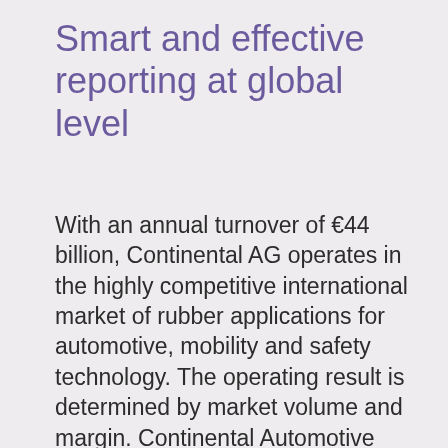Smart and effective reporting at global level
With an annual turnover of €44 billion, Continental AG operates in the highly competitive international market of rubber applications for automotive, mobility and safety technology. The operating result is determined by market volume and margin. Continental Automotive Purchasing purchases materials and semi-finished products worldwide. Effective procurement and